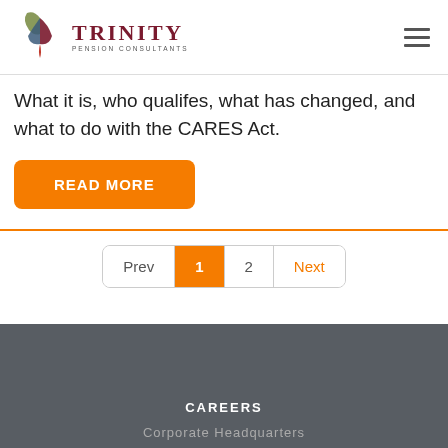Trinity Pension Consultants
What it is, who qualifes, what has changed, and what to do with the CARES Act.
READ MORE
Prev 1 2 Next
CAREERS
Corporate Headquarters